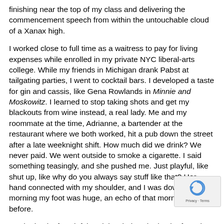finishing near the top of my class and delivering the commencement speech from within the untouchable cloud of a Xanax high.
I worked close to full time as a waitress to pay for living expenses while enrolled in my private NYC liberal-arts college. While my friends in Michigan drank Pabst at tailgating parties, I went to cocktail bars. I developed a taste for gin and cassis, like Gena Rowlands in Minnie and Moskowitz. I learned to stop taking shots and get my blackouts from wine instead, a real lady. Me and my roommate at the time, Adrianne, a bartender at the restaurant where we both worked, hit a pub down the street after a late weeknight shift. How much did we drink? We never paid. We went outside to smoke a cigarette. I said something teasingly, and she pushed me. Just playful, like shut up, like why do you always say stuff like that? Her hand connected with my shoulder, and I was down. In the morning my foot was huge, an echo of that morning years before.
On the back of my left hand, just below the knob of my ring knuckle, I have a pencil eraser sized scar from a cigarette I put out against my skin at sixteen, while trying to prove to a group of guys that I wasn't afraid of anything. When I run my hands down each side of my rib cage, the bottom two on the right side collapse toward each other like a fallen fence, and I remember the time I tripped brushing my teeth and cracked them on the rim of the bathtub, how I couldn't take a deep
[Figure (other): reCAPTCHA badge widget in lower right corner showing circular arrow icon and 'Privacy - Terms' text]